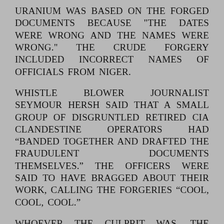URANIUM WAS BASED ON THE FORGED DOCUMENTS BECAUSE "THE DATES WERE WRONG AND THE NAMES WERE WRONG." THE CRUDE FORGERY INCLUDED INCORRECT NAMES OF OFFICIALS FROM NIGER.
WHISTLE BLOWER JOURNALIST SEYMOUR HERSH SAID THAT A SMALL GROUP OF DISGRUNTLED RETIRED CIA CLANDESTINE OPERATORS HAD “BANDED TOGETHER AND DRAFTED THE FRAUDULENT DOCUMENTS THEMSELVES.” THE OFFICERS WERE SAID TO HAVE BRAGGED ABOUT THEIR WORK, CALLING THE FORGERIES “COOL, COOL, COOL.”
WHOEVER THE CULPRIT WAS, THE HOAX WAS EXTREMELY EFFECTIVE, TO THE POINT OF ACCELERATING A CATASTROPHIC WAR WHICH KILLED MILLIONS OF INNOENT PEOPLE.
THE BUSH ADMINISTRATION MADE OTHER FALSE CHARGES ABOUT IRAQ'S WEAPONS OF MASS